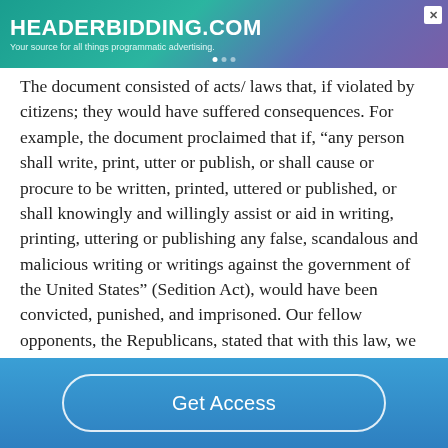[Figure (other): HeaderBidding.com advertisement banner with teal-to-purple gradient background. Text reads 'HEADERBIDDING.COM' and 'Your source for all things programmatic advertising.']
The document consisted of acts/ laws that, if violated by citizens; they would have suffered consequences. For example, the document proclaimed that if, “any person shall write, print, utter or publish, or shall cause or procure to be written, printed, uttered or published, or shall knowingly and willingly assist or aid in writing, printing, uttering or publishing any false, scandalous and malicious writing or writings against the government of the United States” (Sedition Act), would have been convicted, punished, and imprisoned. Our fellow opponents, the Republicans, stated that with this law, we eliminated freedom of speech and press that was granted by the First
Get Access